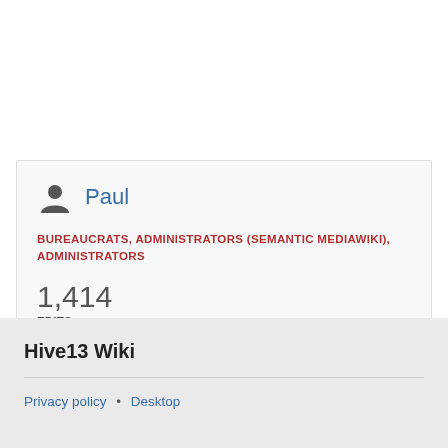[Figure (other): User profile card showing user icon and name 'Paul', roles 'BUREAUCRATS, ADMINISTRATORS (SEMANTIC MEDIAWIKI), ADMINISTRATORS', and edit count '1,414 EDITS']
Hive13 Wiki
Privacy policy • Desktop